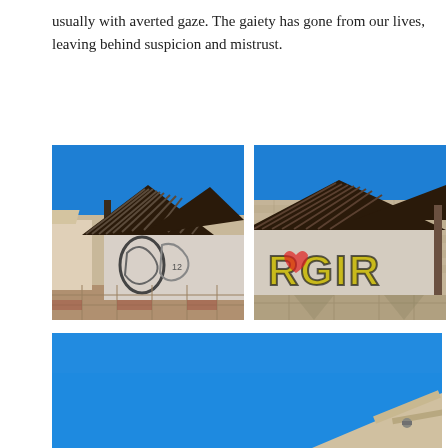usually with averted gaze. The gaiety has gone from our lives, leaving behind suspicion and mistrust.
[Figure (photo): Abandoned market stalls or kiosks with triangular corrugated metal roofs and graffiti-covered walls, in a paved town square with stone walls in the background. Blue sky. Left-side close-up view.]
[Figure (photo): Same abandoned graffiti-covered stall viewed from a different angle, showing the right side with large colorful graffiti lettering, stone castle wall behind, blue sky, paved square.]
[Figure (photo): Wide shot bottom image: mostly bright blue sky with just the top edge of a rooftop structure visible at lower right, open space.]